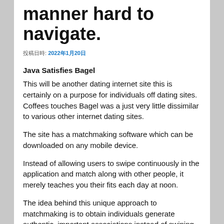manner hard to navigate.
投稿日時: 2022年1月20日
Java Satisfies Bagel
This will be another dating internet site this is certainly on a purpose for individuals off dating sites. Coffees touches Bagel was a just very little dissimilar to various other internet dating sites.
The site has a matchmaking software which can be downloaded on any mobile device.
Instead of allowing users to swipe continuously in the application and match along with other people, it merely teaches you their fits each day at noon.
The idea behind this unique approach to matchmaking is to obtain individuals generate authentic, important associations instead of swiping easily and constantly